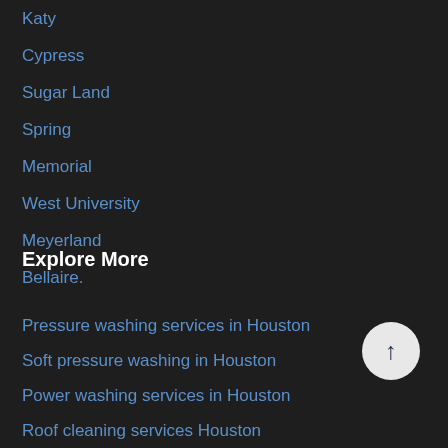Katy
Cypress
Sugar Land
Spring
Memorial
West University
Meyerland
Bellaire.
Explore More
Pressure washing services in Houston
Soft pressure washing in Houston
Power washing services in Houston
Roof cleaning services Houston
Commercial pressure washing in Houston
Residential pressure washing in Houston
Soft wash house cleaning